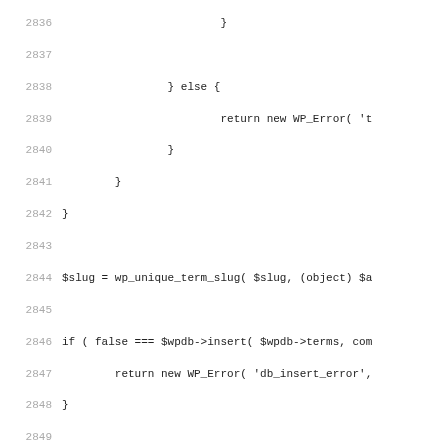Source code listing, lines 2836-2867, PHP/WordPress code snippet